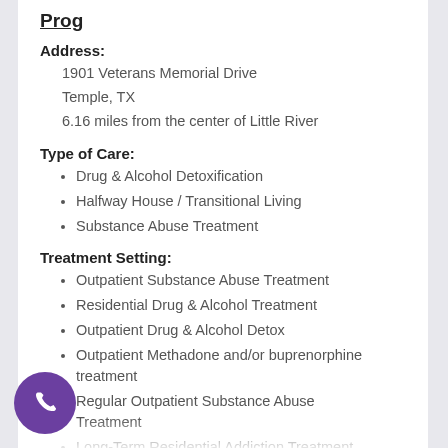Prog
Address:
1901 Veterans Memorial Drive
Temple, TX
6.16 miles from the center of Little River
Type of Care:
Drug & Alcohol Detoxification
Halfway House / Transitional Living
Substance Abuse Treatment
Treatment Setting:
Outpatient Substance Abuse Treatment
Residential Drug & Alcohol Treatment
Outpatient Drug & Alcohol Detox
Outpatient Methadone and/or buprenorphine treatment
Regular Outpatient Substance Abuse Treatment
Long-Term Residential Addiction Treatment